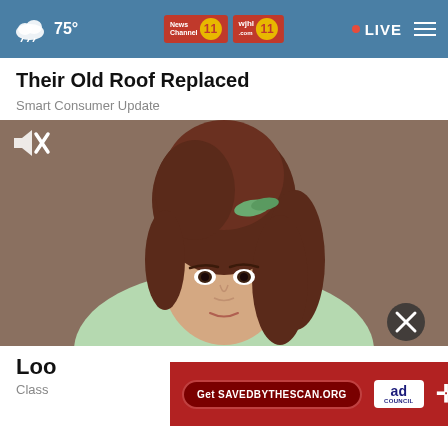75° News Channel 11 wjhl.com 11 • LIVE
Their Old Roof Replaced
Smart Consumer Update
[Figure (photo): Portrait photo of a young woman with a large bouffant hairstyle with a green bow, wearing a light green top, against a brownish background. A mute icon is visible in the top-left corner and a close button in the bottom-right.]
Loo
Class
[Figure (infographic): Red advertisement banner: 'Get SAVEDBYTHESCAN.ORG' button, Ad Council logo, American Lung Association logo]